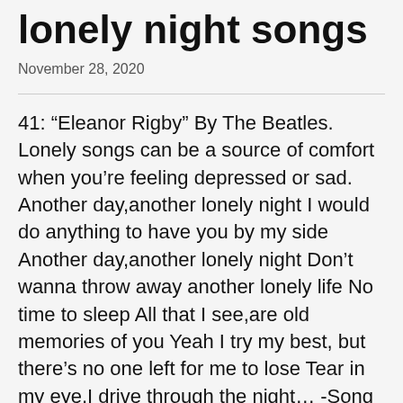lonely night songs
November 28, 2020
41: “Eleanor Rigby” By The Beatles. Lonely songs can be a source of comfort when you’re feeling depressed or sad. Another day,another lonely night I would do anything to have you by my side Another day,another lonely night Don’t wanna throw away another lonely life No time to sleep All that I see,are old memories of you Yeah I try my best, but there’s no one left for me to lose Tear in my eye,I drive through the night… -Song Title-Lonely Night Artist : Kwon Jin Ah Album : Hospital Playlist OST Part 4 Release year : March